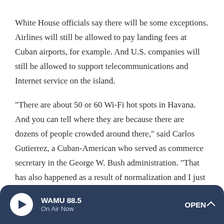White House officials say there will be some exceptions. Airlines will still be allowed to pay landing fees at Cuban airports, for example. And U.S. companies will still be allowed to support telecommunications and Internet service on the island.
"There are about 50 or 60 Wi-Fi hot spots in Havana. And you can tell where they are because there are dozens of people crowded around there," said Carlos Gutierrez, a Cuban-American who served as commerce secretary in the George W. Bush administration. "That has also happened as a result of normalization and I just can't imagine backtracking on something like that."
WAMU 88.5 On Air Now OPEN